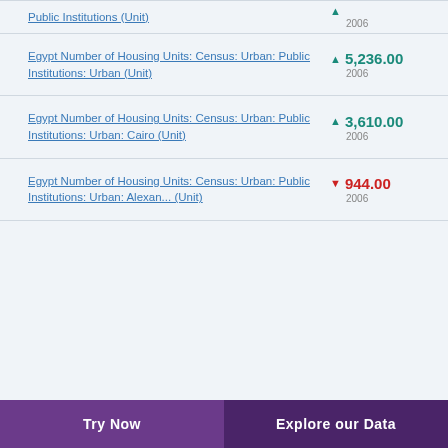Public Institutions (Unit)
Egypt Number of Housing Units: Census: Urban: Public Institutions: Urban (Unit)
Egypt Number of Housing Units: Census: Urban: Public Institutions: Urban: Cairo (Unit)
Egypt Number of Housing Units: Census: Urban: Public Institutions: Urban: Alexan... (Unit)
Try Now   Explore our Data